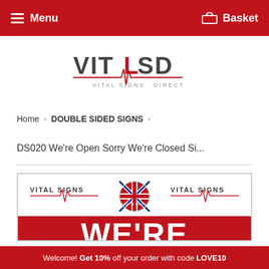Menu  Basket
[Figure (logo): VITAL SD - VITAL SIGNS DIRECT logo with red heartbeat line]
Home › DOUBLE SIDED SIGNS ›
DS020 We're Open Sorry We're Closed Si...
[Figure (photo): Product image showing Vital Signs company branding with two Vital Signs logos flanking a Union Jack badge at top, and a red banner with bold white text reading WE'RE at the bottom]
Welcome! Get 10% off your order with code LOVE10